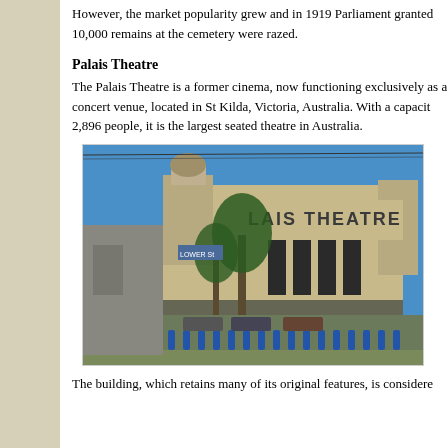However, the market popularity grew and in 1919 Parliament granted... 10,000 remains at the cemetery were razed.
Palais Theatre
The Palais Theatre is a former cinema, now functioning exclusively as a concert venue, located in St Kilda, Victoria, Australia. With a capacity of 2,896 people, it is the largest seated theatre in Australia.
[Figure (photo): Exterior photograph of the Palais Theatre building in St Kilda, Victoria, Australia. The Art Deco style building features the name 'LAIS THEATRE' visible on the facade, with palm trees in the foreground and blue bollards along the street.]
The building, which retains many of its original features, is considered...